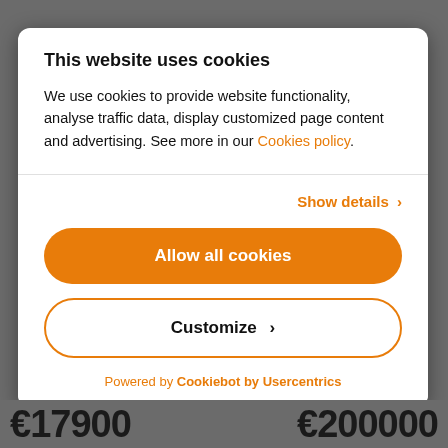This website uses cookies
We use cookies to provide website functionality, analyse traffic data, display customized page content and advertising. See more in our Cookies policy.
Show details ›
Allow all cookies
Customize ›
Powered by Cookiebot by Usercentrics
€17900   €200000